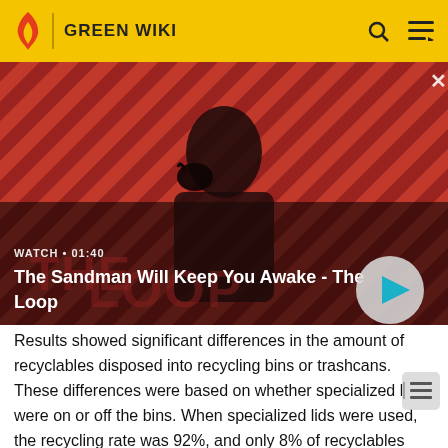GREEN WIKI
[Figure (screenshot): Video thumbnail showing a dark figure with a raven on a red and black diagonal striped background. Title 'The Sandman Will Keep You Awake - The Loop' with WATCH • 01:40 label and a play button.]
Results showed significant differences in the amount of recyclables disposed into recycling bins or trashcans. These differences were based on whether specialized lids were on or off the bins. When specialized lids were used, the recycling rate was 92%, and only 8% of recyclables were thrown into trashcans. However, when specialized